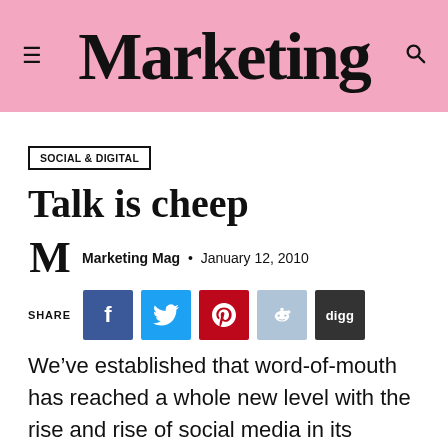Marketing
SOCIAL & DIGITAL
Talk is cheep
Marketing Mag · January 12, 2010
SHARE
We’ve established that word-of-mouth has reached a whole new level with the rise and rise of social media in its various forms (particularly Twitter). But what is a company to make of all this new noise?